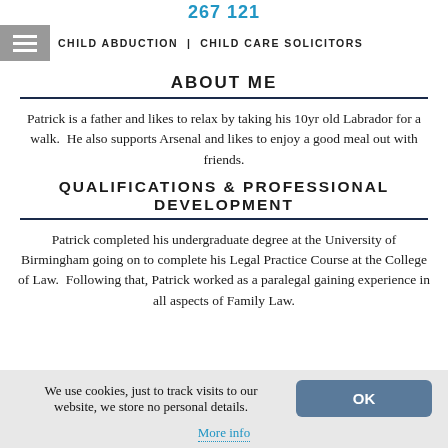267 121
CHILD ABDUCTION | CHILD CARE SOLICITORS
ABOUT ME
Patrick is a father and likes to relax by taking his 10yr old Labrador for a walk. He also supports Arsenal and likes to enjoy a good meal out with friends.
QUALIFICATIONS & PROFESSIONAL DEVELOPMENT
Patrick completed his undergraduate degree at the University of Birmingham going on to complete his Legal Practice Course at the College of Law. Following that, Patrick worked as a paralegal gaining experience in all aspects of Family Law.
We use cookies, just to track visits to our website, we store no personal details.
More info